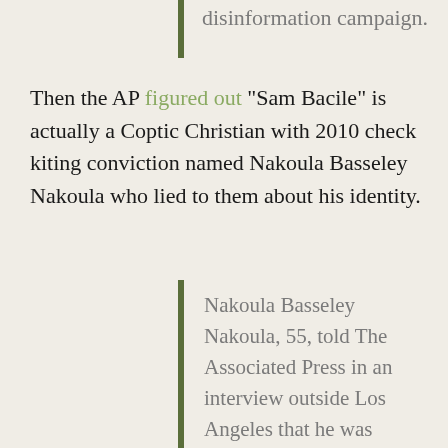disinformation campaign.
Then the AP figured out "Sam Bacile" is actually a Coptic Christian with 2010 check kiting conviction named Nakoula Basseley Nakoula who lied to them about his identity.
Nakoula Basseley Nakoula, 55, told The Associated Press in an interview outside Los Angeles that he was manager for the company that produced "Innocence of Muslims," which mocked Muslims and the prophet Muhammad and may have caused inflamed mobs that attacked U.S. missions in Egypt and Libya. Read more